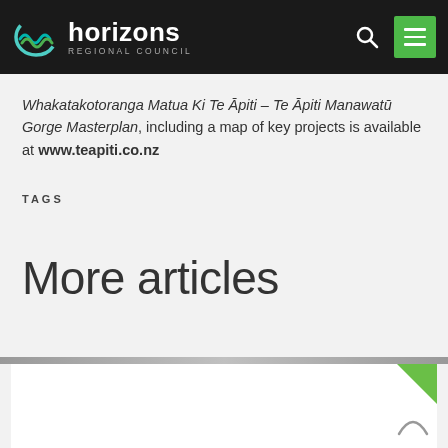Horizons Regional Council
Whakatakotoranga Matua Ki Te Āpiti – Te Āpiti Manawatū Gorge Masterplan, including a map of key projects is available at www.teapiti.co.nz
TAGS
More articles